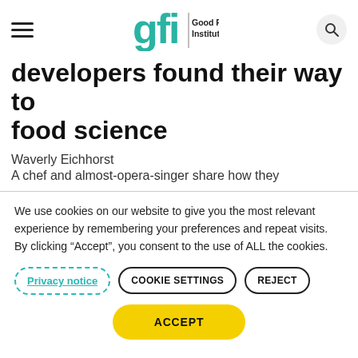Good Food Institute
developers found their way to food science
Waverly Eichhorst
A chef and almost-opera-singer share how they
We use cookies on our website to give you the most relevant experience by remembering your preferences and repeat visits. By clicking “Accept”, you consent to the use of ALL the cookies.
Privacy notice | COOKIE SETTINGS | REJECT | ACCEPT